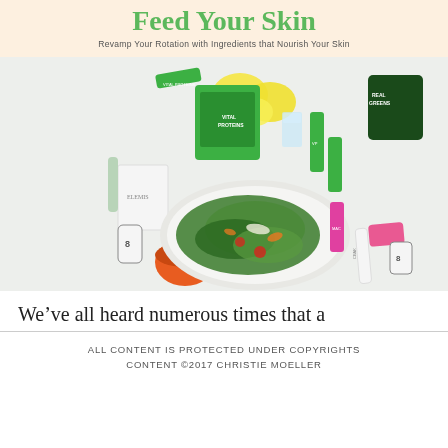Feed Your Skin
Revamp Your Rotation with Ingredients that Nourish Your Skin
[Figure (photo): Flatlay photo of a white bowl with green salad surrounded by skincare and nutrition products including Vital Proteins collagen packets, Elemis skincare, 8Greens, and lemons on a white surface.]
We’ve all heard numerous times that a
ALL CONTENT IS PROTECTED UNDER COPYRIGHTS
CONTENT ©2017 CHRISTIE MOELLER